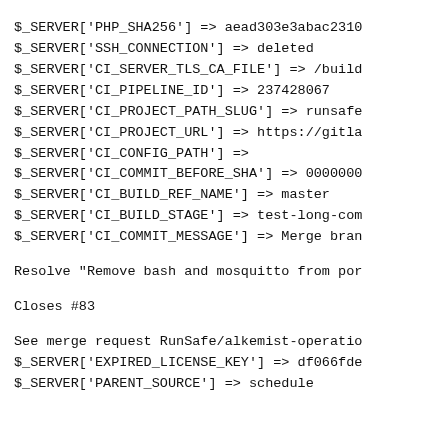$_SERVER['PHP_SHA256'] => aead303e3abac2310
$_SERVER['SSH_CONNECTION'] => deleted
$_SERVER['CI_SERVER_TLS_CA_FILE'] => /build
$_SERVER['CI_PIPELINE_ID'] => 237428067
$_SERVER['CI_PROJECT_PATH_SLUG'] => runsafe
$_SERVER['CI_PROJECT_URL'] => https://gitla
$_SERVER['CI_CONFIG_PATH'] =>
$_SERVER['CI_COMMIT_BEFORE_SHA'] => 0000000
$_SERVER['CI_BUILD_REF_NAME'] => master
$_SERVER['CI_BUILD_STAGE'] => test-long-com
$_SERVER['CI_COMMIT_MESSAGE'] => Merge bran
Resolve "Remove bash and mosquitto from por
Closes #83
See merge request RunSafe/alkemist-operatio
$_SERVER['EXPIRED_LICENSE_KEY'] => df066fde
$_SERVER['PARENT_SOURCE'] => schedule